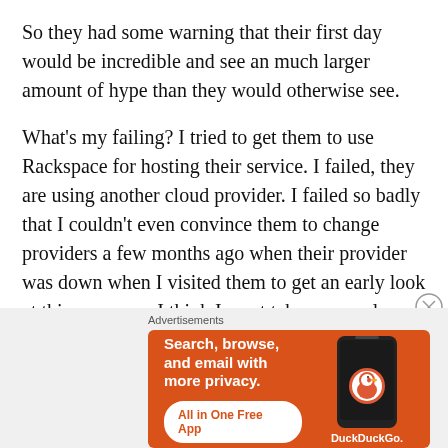So they had some warning that their first day would be incredible and see an much larger amount of hype than they would otherwise see.
What's my failing? I tried to get them to use Rackspace for hosting their service. I failed, they are using another cloud provider. I failed so badly that I couldn't even convince them to change providers a few months ago when their provider was down when I visited them to get an early look at this company. I think I must take some sales lessons and get
[Figure (other): DuckDuckGo advertisement banner with orange background. Text reads: 'Search, browse, and email with more privacy. All in One Free App'. Shows a smartphone with the DuckDuckGo logo.]